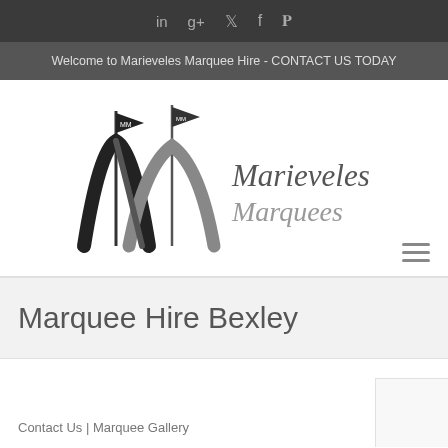in  g+  twitter  f  pinterest
Welcome to Marieveles Marquee Hire - CONTACT US TODAY
[Figure (logo): Marieveles Marquees logo with stylized MM monogram and two flags]
Marquee Hire Bexley
Contact Us | Marquee Gallery